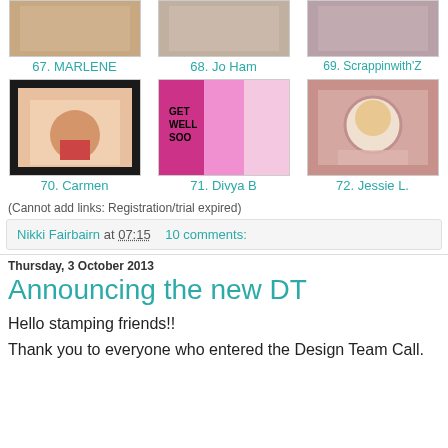[Figure (photo): Three thumbnail images of crafting cards in a gallery row with labels 67. MARLENE, 68. Jo Ham, 69. Scrappinwith'Z]
[Figure (photo): Three thumbnail images of crafting cards in a gallery row with labels 70. Carmen, 71. Divya B, 72. Jessie L.]
(Cannot add links: Registration/trial expired)
Nikki Fairbairn at 07:15    10 comments:
Thursday, 3 October 2013
Announcing the new DT
Hello stamping friends!!
Thank you to everyone who entered the Design Team Call.